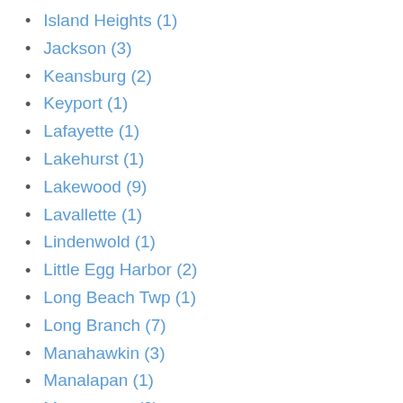Island Heights (1)
Jackson (3)
Keansburg (2)
Keyport (1)
Lafayette (1)
Lakehurst (1)
Lakewood (9)
Lavallette (1)
Lindenwold (1)
Little Egg Harbor (2)
Long Beach Twp (1)
Long Branch (7)
Manahawkin (3)
Manalapan (1)
Manasquan (2)